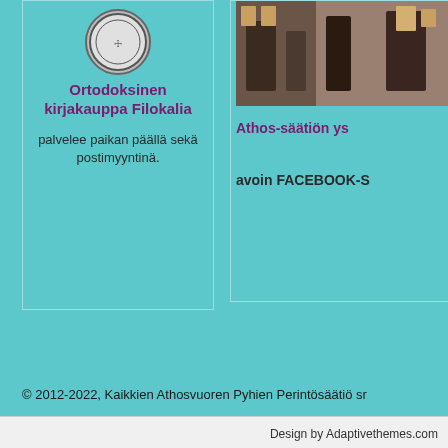[Figure (logo): Circular logo/seal with black and white design]
Ortodoksinen kirjakauppa Filokalia
palvelee paikan päällä sekä postimyyntinä.
[Figure (photo): Photo of people in what appears to be an Orthodox church interior with icons]
Athos-säätiön ys...
avoin FACEBOOK-S...
© 2012-2022, Kaikkien Athosvuoren Pyhien Perintösäätiö sr
Design by Adaptivethemes.com